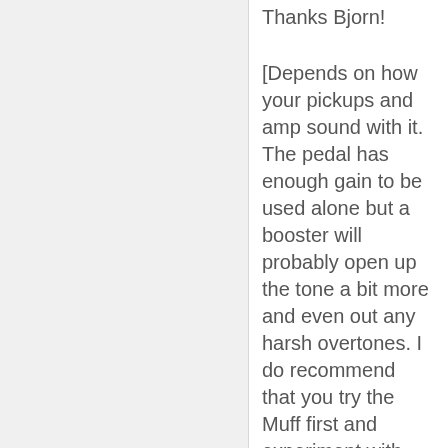Thanks Bjorn!
[Depends on how your pickups and amp sound with it. The pedal has enough gain to be used alone but a booster will probably open up the tone a bit more and even out any harsh overtones. I do recommend that you try the Muff first and experiment with different settings before you introduce a